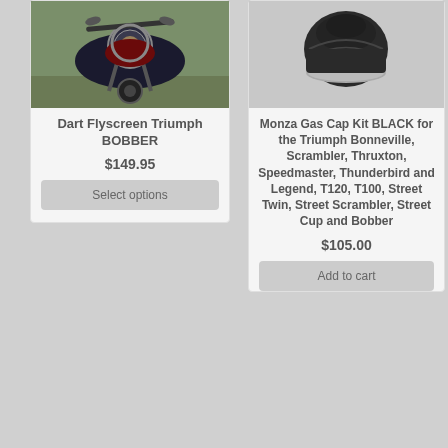[Figure (photo): Photo of a Triumph Bobber motorcycle front view, showing headlight and handlebars, outdoors]
Dart Flyscreen Triumph BOBBER
$149.95
Select options
[Figure (photo): Product photo of a black Monza Gas Cap Kit on white background]
Monza Gas Cap Kit BLACK for the Triumph Bonneville, Scrambler, Thruxton, Speedmaster, Thunderbird and Legend, T120, T100, Street Twin, Street Scrambler, Street Cup and Bobber
$105.00
Add to cart